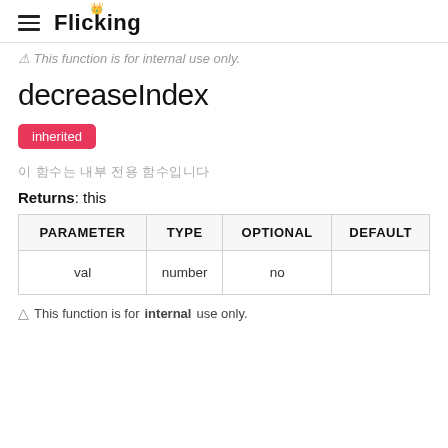Flicking
⚠ This function is for internal use only.
decreaseIndex
inherited
이 함수는 내부 전용 함수입니다
Returns: this
| PARAMETER | TYPE | OPTIONAL | DEFAULT |
| --- | --- | --- | --- |
| val | number | no |  |
△ This function is for internal use only.